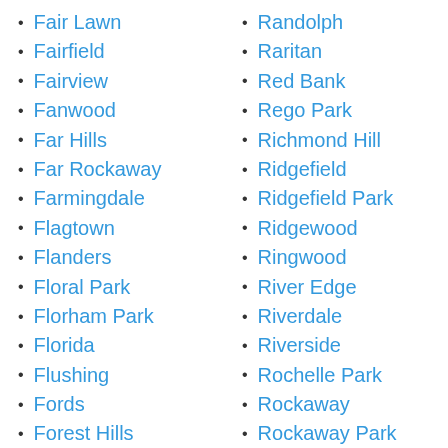Fair Lawn
Fairfield
Fairview
Fanwood
Far Hills
Far Rockaway
Farmingdale
Flagtown
Flanders
Floral Park
Florham Park
Florida
Flushing
Fords
Forest Hills
Fort Lee
Fort Monmouth
Fort Montgomery
Franklin
Randolph
Raritan
Red Bank
Rego Park
Richmond Hill
Ridgefield
Ridgefield Park
Ridgewood
Ringwood
River Edge
Riverdale
Riverside
Rochelle Park
Rockaway
Rockaway Park
Rockville Centre
Rocky Hill
Roosevelt
Rosedale